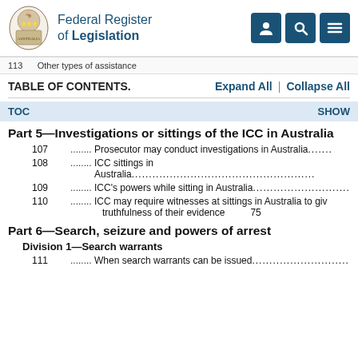Federal Register of Legislation
113  Other types of assistance
TABLE OF CONTENTS.   Expand All  |  Collapse All
TOC   SHOW
Part 5—Investigations or sittings of the ICC in Australia
107......... Prosecutor may conduct investigations in Australia.......
108......... ICC sittings in Australia......................................................
109......... ICC's powers while sitting in Australia..............................
110......... ICC may require witnesses at sittings in Australia to give truthfulness of their evidence  75
Part 6—Search, seizure and powers of arrest
Division 1—Search warrants
111......... When search warrants can be issued..............................